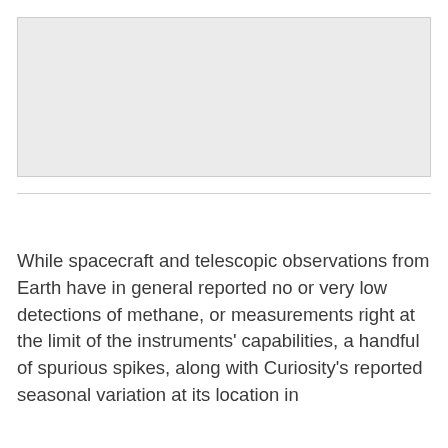[Figure (other): Light gray rectangular placeholder image area at top of page]
While spacecraft and telescopic observations from Earth have in general reported no or very low detections of methane, or measurements right at the limit of the instruments' capabilities, a handful of spurious spikes, along with Curiosity's reported seasonal variation at its location in